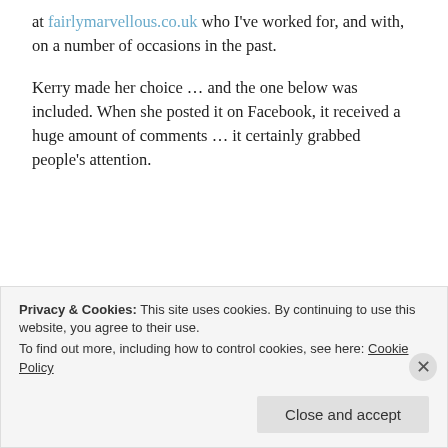at fairlymarvellous.co.uk who I've worked for, and with, on a number of occasions in the past.
Kerry made her choice … and the one below was included. When she posted it on Facebook, it received a huge amount of comments … it certainly grabbed people's attention.
[Figure (photo): Woman with pink hair and glasses smiling, with Branding Bee Business Branding Photography logo overlay]
Privacy & Cookies: This site uses cookies. By continuing to use this website, you agree to their use.
To find out more, including how to control cookies, see here: Cookie Policy
Close and accept